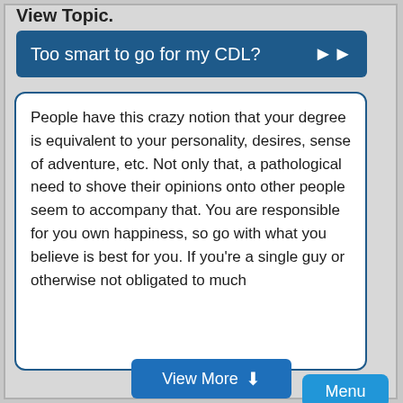View Topic.
Too smart to go for my CDL?
People have this crazy notion that your degree is equivalent to your personality, desires, sense of adventure, etc. Not only that, a pathological need to shove their opinions onto other people seem to accompany that. You are responsible for you own happiness, so go with what you believe is best for you. If you're a single guy or otherwise not obligated to much
View More
Menu